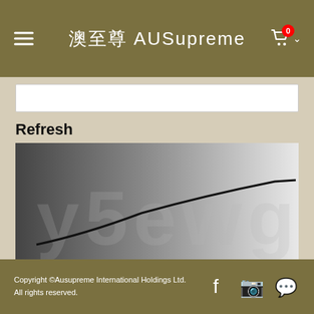澳至尊 AUSupreme
[Figure (screenshot): White input box for entering captcha text]
Refresh
[Figure (other): CAPTCHA image with distorted text 'y5ewg' on gradient dark-to-light background with a curved black line]
Submit
Copyright ©Ausupreme International Holdings Ltd. All rights reserved.